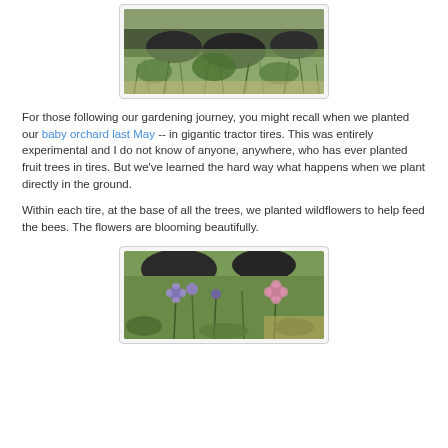[Figure (photo): Outdoor scene with large tractor tires partially visible among grass and green shrubs on a hillside]
For those following our gardening journey, you might recall when we planted our baby orchard last May -- in gigantic tractor tires. This was entirely experimental and I do not know of anyone, anywhere, who has ever planted fruit trees in tires. But we've learned the hard way what happens when we plant directly in the ground.
Within each tire, at the base of all the trees, we planted wildflowers to help feed the bees. The flowers are blooming beautifully.
[Figure (photo): Close-up of wildflowers including purple and pink blooms growing at the base of tractor tires]